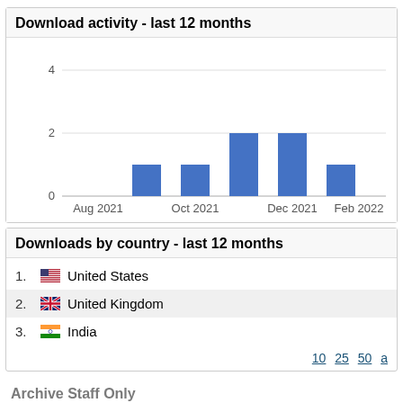Download activity - last 12 months
[Figure (bar-chart): Download activity - last 12 months]
Downloads by country - last 12 months
1. United States
2. United Kingdom
3. India
10 25 50 a
Archive Staff Only